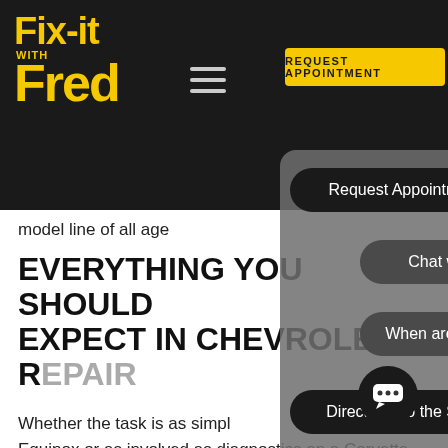[Figure (screenshot): Fix-It With Fred auto repair website screenshot showing navigation with logo, hamburger menu, REQUEST APPOINTMENT button, and a dropdown overlay menu with pills: Request Appointment, Chat with, When are you, Directions to the Shop. Page content shows heading and body text about Chevrolet repair.]
model line of all age
EVERYTHING YOU SHOULD EXPECT IN CHEVROLET REPAIR
Whether the task is as simple as... Equinox or as involved as diagnostics on a Corvette, promptly addressing any needs as they arise will ensure reliable driving. At the same time, we're sure you'd like to be spending your money wisely on Chevrolet repairs. Thanks to our proven range of skills here at Fix-It With Fred in Canton, OH, you'll